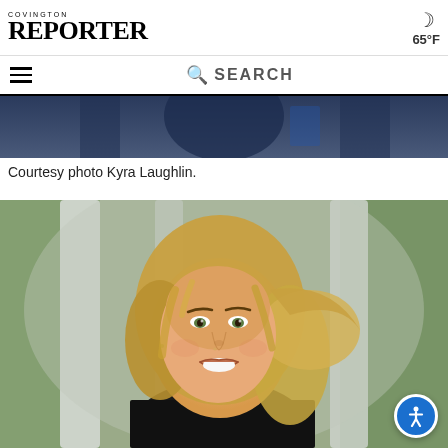COVINGTON REPORTER — 65°F
[Figure (photo): Dark blue/navy background photo strip, partially visible at top, appears to be a person in dark clothing against a dark background.]
Courtesy photo Kyra Laughlin.
[Figure (photo): Portrait photo of a young blonde woman smiling, with wavy hair, wearing a black top, photographed outdoors in front of white columns with green foliage in the background.]